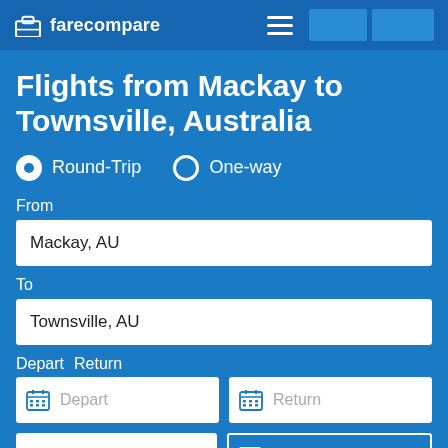farecompare
Flights from Mackay to Townsville, Australia
Round-Trip   One-way
From
Mackay, AU
To
Townsville, AU
Depart
Return
Depart
Return
1 traveler
Nonstop